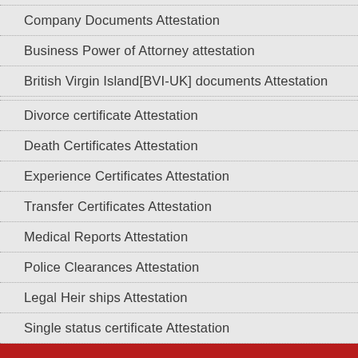Company Documents Attestation
Business Power of Attorney attestation
British Virgin Island[BVI-UK] documents Attestation
Divorce certificate Attestation
Death Certificates Attestation
Experience Certificates Attestation
Transfer Certificates Attestation
Medical Reports Attestation
Police Clearances Attestation
Legal Heir ships Attestation
Single status certificate Attestation
ENQUIRY